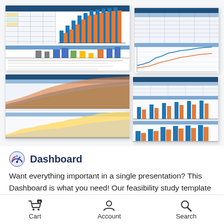[Figure (screenshot): Top-left dashboard screenshot showing colored bar charts (blue and orange) with spreadsheet tables, Excel-style feasibility study dashboard]
[Figure (screenshot): Top-right dashboard screenshot showing line charts and data tables in Excel-style format]
[Figure (screenshot): Bottom-left dashboard screenshot showing stacked area/bar charts (blue, orange, yellow) over time periods]
[Figure (screenshot): Bottom-right dashboard screenshot showing grouped bar charts (blue and orange) with data tables]
Dashboard
Want everything important in a single presentation? This Dashboard is what you need! Our feasibility study template excel has an all-in-one dashboard that provides a snapshot of a business's start-up metrics for your selected